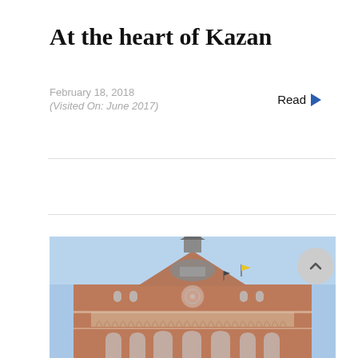At the heart of Kazan
February 18, 2018
(Visited On: June 2017)
Read ▶
[Figure (photo): Photograph of a large historic church/basilica with a tall spire, ornate facade with arched colonnades, rose window, and domes against a blue sky. Flags visible on the rooftop.]